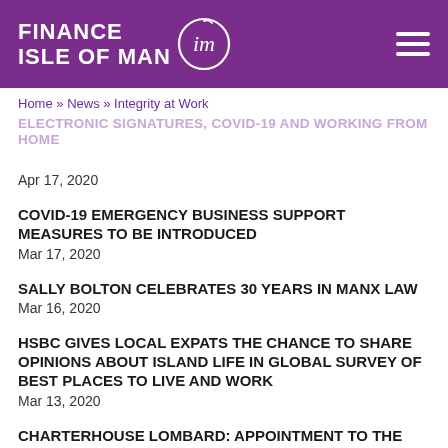[Figure (logo): Finance Isle of Man logo with purple background and hamburger menu icon]
Home » News » Integrity at Work
ELECTRONIC SIGNATURES, COVID-19 AND WORKING FROM HOME
Apr 17, 2020
COVID-19 EMERGENCY BUSINESS SUPPORT MEASURES TO BE INTRODUCED
Mar 17, 2020
SALLY BOLTON CELEBRATES 30 YEARS IN MANX LAW
Mar 16, 2020
HSBC GIVES LOCAL EXPATS THE CHANCE TO SHARE OPINIONS ABOUT ISLAND LIFE IN GLOBAL SURVEY OF BEST PLACES TO LIVE AND WORK
Mar 13, 2020
CHARTERHOUSE LOMBARD: APPOINTMENT TO THE BOARD